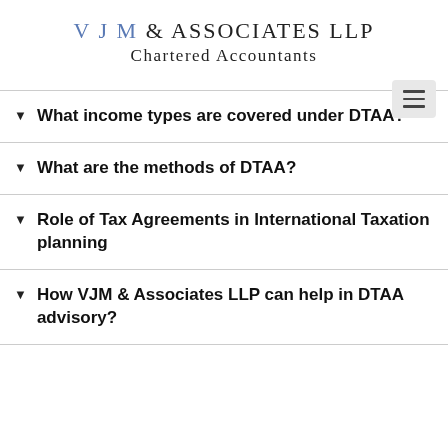VJM & ASSOCIATES LLP Chartered Accountants
What income types are covered under DTAA?
What are the methods of DTAA?
Role of Tax Agreements in International Taxation planning
How VJM & Associates LLP can help in DTAA advisory?